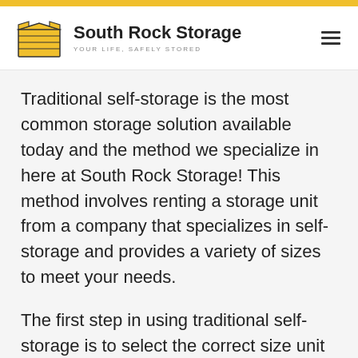South Rock Storage — YOUR LIFE, SAFELY STORED
Traditional self-storage is the most common storage solution available today and the method we specialize in here at South Rock Storage! This method involves renting a storage unit from a company that specializes in self-storage and provides a variety of sizes to meet your needs.
The first step in using traditional self-storage is to select the correct size unit for your needs. Units vary in size, so we must